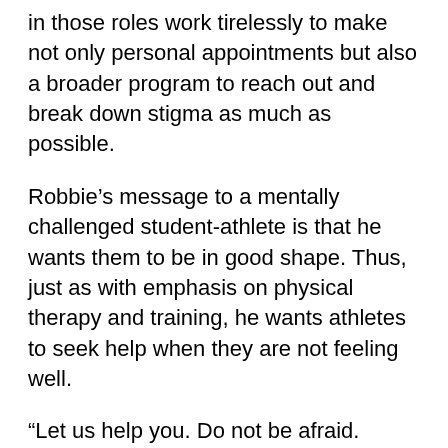in those roles work tirelessly to make not only personal appointments but also a broader program to reach out and break down stigma as much as possible.
Robbie's message to a mentally challenged student-athlete is that he wants them to be in good shape. Thus, just as with emphasis on physical therapy and training, he wants athletes to seek help when they are not feeling well.
“Let us help you. Do not be afraid. There is no stigma attached to doing what works for you. ” Anyone who treats you differently or [as lesser] They don’t really care about you because they come to you and say that you have challenges that you want to solve.